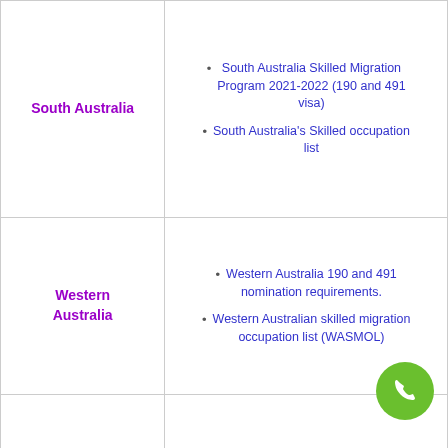| State/Territory | Links |
| --- | --- |
| South Australia | South Australia Skilled Migration Program 2021-2022 (190 and 491 visa)
South Australia's Skilled occupation list |
| Western Australia | Western Australia 190 and 491 nomination requirements.
Western Australian skilled migration occupation list (WASMOL) |
| Northern Territory | Northern Territory 190 Visa requirements
NT Migration Occupation List |
| Australian | ACT Canberra Small Business |